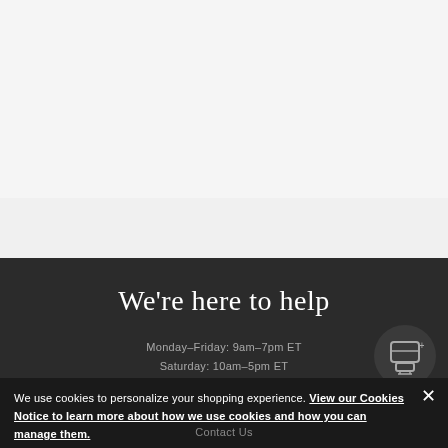We're here to help
Monday–Friday: 9am–7pm ET
Saturday: 10am–5pm ET
Sunday: 10am–5pm ET
[Figure (illustration): Chat/video icon in a dark circular button]
We use cookies to personalize your shopping experience. View our Cookies Notice to learn more about how we use cookies and how you can manage them.
Contact Us